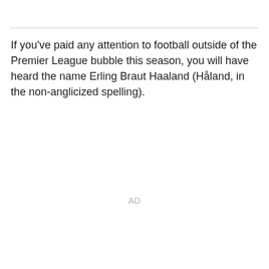If you've paid any attention to football outside of the Premier League bubble this season, you will have heard the name Erling Braut Haaland (Håland, in the non-anglicized spelling).
AD